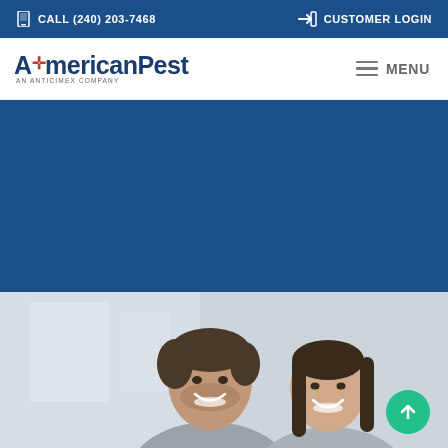CALL (240) 203-7468 | CUSTOMER LOGIN
[Figure (logo): AmericanPest logo with tagline AN ANTICIMEX COMPANY and hamburger menu button labeled MENU]
[Figure (photo): Large blue hero banner section (dark blue background, no visible text)]
[Figure (photo): Black and white photo of a smiling couple (man and woman), cropped at chest/shoulders, with green scroll-to-top arrow button in bottom-right corner]